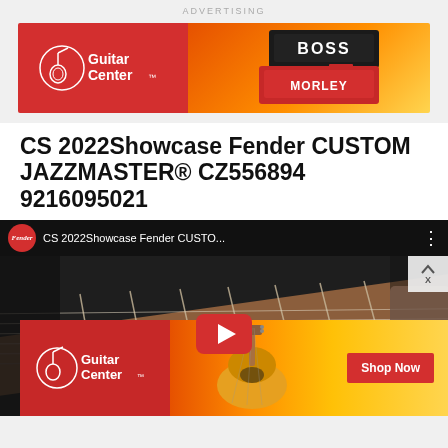ADVERTISING
[Figure (illustration): Guitar Center advertisement banner showing red logo on left and guitar pedals (BOSS and Morley brand) on orange gradient background]
CS 2022Showcase Fender CUSTOM JAZZMASTER® CZ556894 9216095021
[Figure (screenshot): YouTube video thumbnail showing Fender channel with CS 2022Showcase Fender CUSTO... title, guitar neck visible, red play button overlay, and Guitar Center ad banner at bottom with sunburst acoustic guitar and Shop Now button]